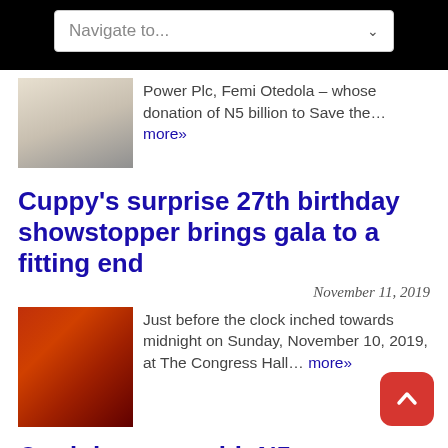[Figure (screenshot): Navigation dropdown bar with 'Navigate to...' text and chevron arrow]
Power Plc, Femi Otedola – whose donation of N5 billion to Save the… more»
Cuppy's surprise 27th birthday showstopper brings gala to a fitting end
November 11, 2019
Just before the clock inched towards midnight on Sunday, November 10, 2019, at The Congress Hall… more»
Otedola stuns with N5